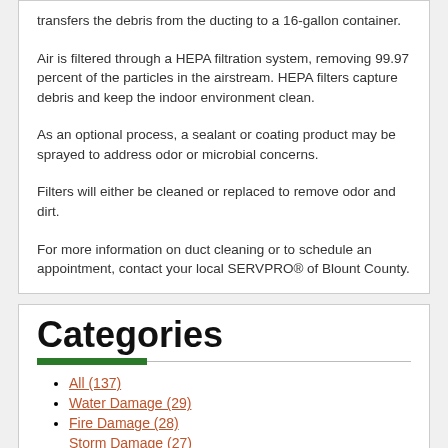transfers the debris from the ducting to a 16-gallon container.
Air is filtered through a HEPA filtration system, removing 99.97 percent of the particles in the airstream. HEPA filters capture debris and keep the indoor environment clean.
As an optional process, a sealant or coating product may be sprayed to address odor or microbial concerns.
Filters will either be cleaned or replaced to remove odor and dirt.
For more information on duct cleaning or to schedule an appointment, contact your local SERVPRO® of Blount County.
Categories
All (137)
Water Damage (29)
Fire Damage (28)
Storm Damage (27)